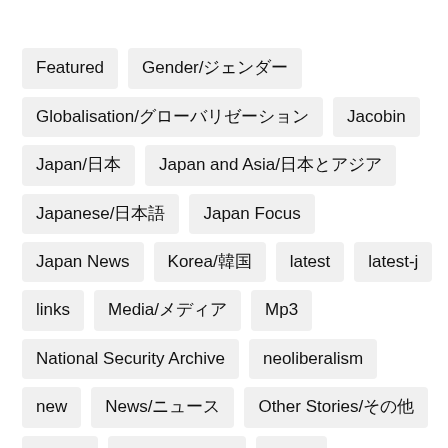Featured
Gender/ジェンダー
Globalisation/グローバリゼーション
Jacobin
Japan/日本
Japan and Asia/日本とアジア
Japanese/日本語
Japan Focus
Japan News
Korea/韓国
latest
latest-j
links
Media/メディア
Mp3
National Security Archive
neoliberalism
new
News/ニュース
Other Stories/その他
Topics
Uncategorized
Video